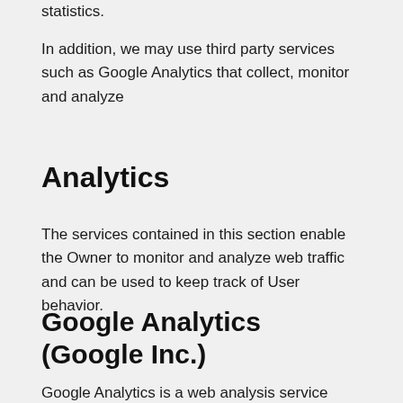statistics.
In addition, we may use third party services such as Google Analytics that collect, monitor and analyze
Analytics
The services contained in this section enable the Owner to monitor and analyze web traffic and can be used to keep track of User behavior.
Google Analytics (Google Inc.)
Google Analytics is a web analysis service